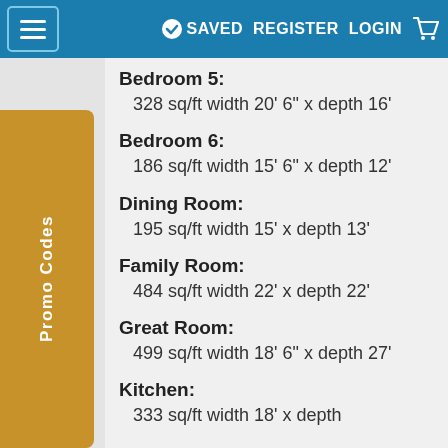≡  SAVED  REGISTER  LOGIN  🛒
Bedroom 5: 328 sq/ft width 20' 6" x depth 16'
Bedroom 6: 186 sq/ft width 15' 6" x depth 12'
Dining Room: 195 sq/ft width 15' x depth 13'
Family Room: 484 sq/ft width 22' x depth 22'
Great Room: 499 sq/ft width 18' 6" x depth 27'
Kitchen: 333 sq/ft width 18' x depth
Promo Codes